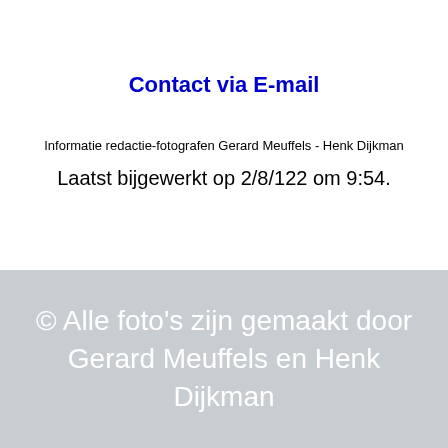Contact via E-mail
Informatie redactie-fotografen Gerard Meuffels - Henk Dijkman
Laatst bijgewerkt op 2/8/122 om 9:54.
© Alle foto's zijn gemaakt door Gerard Meuffels en Henk Dijkman